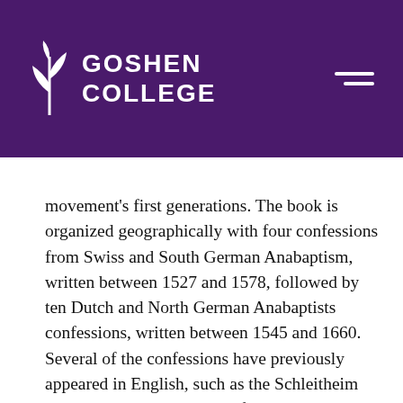Goshen College
movement's first generations. The book is organized geographically with four confessions from Swiss and South German Anabaptism, written between 1527 and 1578, followed by ten Dutch and North German Anabaptists confessions, written between 1545 and 1660. Several of the confessions have previously appeared in English, such as the Schleitheim Articles, the Dordrecht Confession and the Swiss Brethren Confession of Hesse (1578); most appear here for the first time, such as the Kempen Confession of 1545, and the Prussian Confession of 1660. Koop provides an introduction to each confession that includes historical context, occasion for the confession's writing and commentary on the confession's unusual features (e.g., inclusion of Melchiorite Christology or omission of